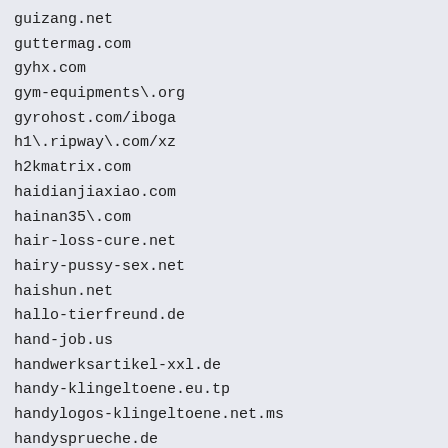guizang.net
guttermag.com
gyhx.com
gym-equipments\.org
gyrohost.com/iboga
h1\.ripway\.com/xz
h2kmatrix.com
haidianjiaxiao.com
hainan35\.com
hair-loss-cure.net
hairy-pussy-sex.net
haishun.net
hallo-tierfreund.de
hand-job.us
handwerksartikel-xxl.de
handy-klingeltoene.eu.tp
handylogos-klingeltoene.net.ms
handysprueche.de
handytone.us
hangchen.cn